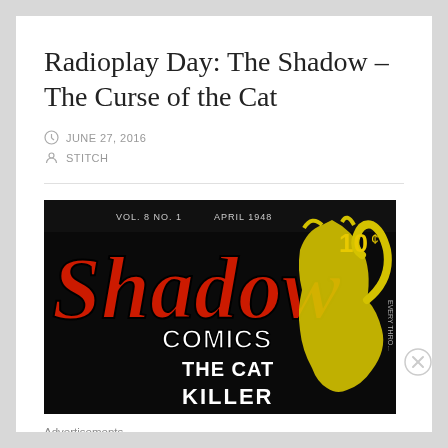Radioplay Day: The Shadow – The Curse of the Cat
JUNE 27, 2016
STITCH
[Figure (illustration): Cover of Shadow Comics Vol. 8 No. 1, April 1948, showing the Shadow logo in red lettering, 'COMICS' below it, with text 'THE CAT KILLER' partially visible. A yellow illustrated cat silhouette appears on the right against a black background. Price shown as '10¢'.]
Advertisements